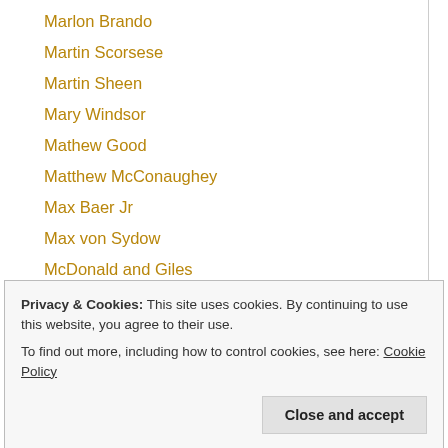Marlon Brando
Martin Scorsese
Martin Sheen
Mary Windsor
Mathew Good
Matthew McConaughey
Max Baer Jr
Max von Sydow
McDonald and Giles
mel brooks.
Mel Gibson
Memories
Merle Haggard
Michael Caine
Michael Cimino
Michael Curtiz
Michael Madsen
Michael Mann
Michael Shannon
Mick Avory
Privacy & Cookies: This site uses cookies. By continuing to use this website, you agree to their use.
To find out more, including how to control cookies, see here: Cookie Policy
Close and accept